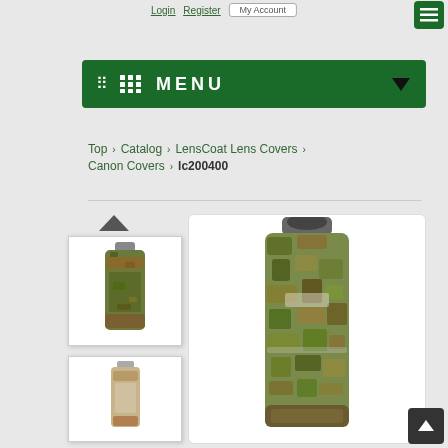Login | Register | My Account | MENU
Top › Catalog › LensCoat Lens Covers › Canon Covers › lc200400
[Figure (photo): Thumbnail of camouflage lens cover (camo pattern) on camera lens]
[Figure (photo): Thumbnail of tan/beige lens cover on camera lens]
[Figure (photo): Main large product image showing a camouflage-patterned LensCoat lens cover fitted on a large telephoto lens, displayed vertically on white background]